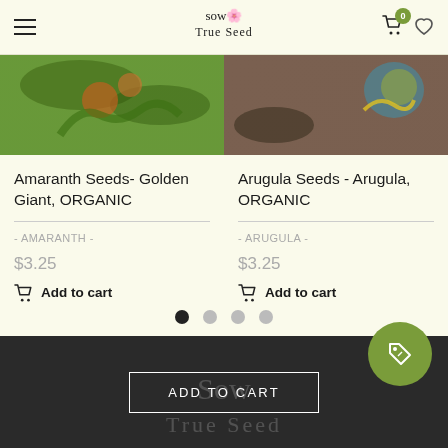Sow True Seed - navigation header with hamburger menu, logo, cart (0), and wishlist
[Figure (photo): Amaranth Golden Giant plant with orange-red seed heads and green leaves]
[Figure (photo): Arugula seeds product image with sunflower in background on dark mulch]
Amaranth Seeds- Golden Giant, ORGANIC
- AMARANTH -
$3.25
Add to cart
Arugula Seeds - Arugula, ORGANIC
- ARUGULA -
$3.25
Add to cart
ADD TO CART